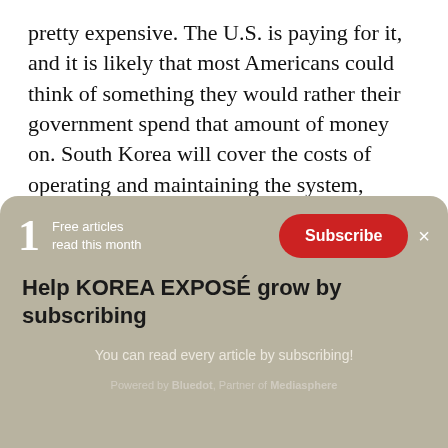pretty expensive. The U.S. is paying for it, and it is likely that most Americans could think of something they would rather their government spend that amount of money on. South Korea will cover the costs of operating and maintaining the system, which over time, are sure to add up.
1 Free articles read this month
Subscribe
×
Help KOREA EXPOSÉ grow by subscribing
You can read every article by subscribing!
Powered by Bluedot, Partner of Mediasphere